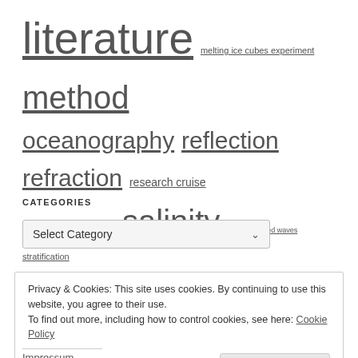literature melting ice cubes experiment method oceanography reflection refraction research cruise rotating tank rotation salinity ship-generated waves stratification tank experiment teaching temperature wake waves wave watching wind wind-generated waves
CATEGORIES
[Figure (other): Select Category dropdown widget]
Privacy & Cookies: This site uses cookies. By continuing to use this website, you agree to their use. To find out more, including how to control cookies, see here: Cookie Policy
Impressum